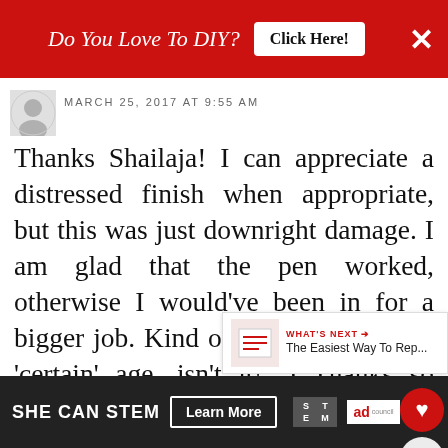[Figure (screenshot): Red top ad banner: 'Do You Love To DIY?' with 'Click Here!' button and X close button]
MARCH 25, 2017 AT 9:55 AM
Thanks Shailaja! I can appreciate a distressed finish when appropriate, but this was just downright damage. I am glad that the pen worked, otherwise I would've been in for a bigger job. Kind of like self care at a 'certain' age, isn't it! ;) Thanks so much for the comment and popping by
DELETE
[Figure (screenshot): Bottom ad banner: SHE CAN STEM with Learn More button, STEM logo, Ad Council logo]
[Figure (infographic): Floating heart (red) and share buttons on right side, and 'WHAT'S NEXT: The Easiest Way To Rep...' overlay with thumbnail]